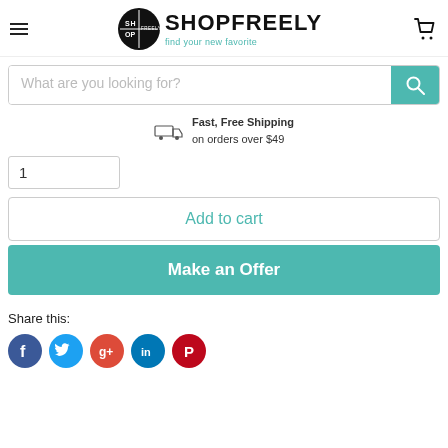SHOPFREELY find your new favorite
What are you looking for?
Fast, Free Shipping on orders over $49
1
Add to cart
Make an Offer
Share this: